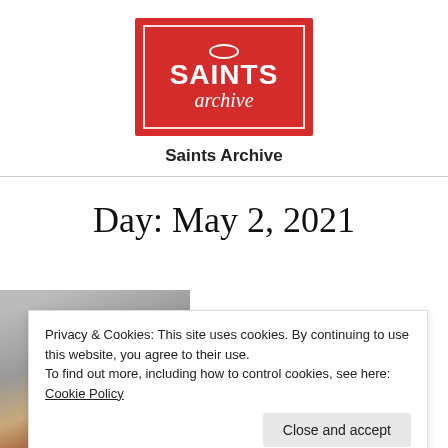[Figure (logo): Saints Archive logo: red rectangle with white inner border, white halo oval above text, 'SAINTS' in bold white uppercase and 'archive' in white italic script below]
Saints Archive
Day: May 2, 2021
[Figure (photo): Partial photo of a room with decorative items hanging, partially obscured by cookie banner]
Privacy & Cookies: This site uses cookies. By continuing to use this website, you agree to their use.
To find out more, including how to control cookies, see here: Cookie Policy
Close and accept